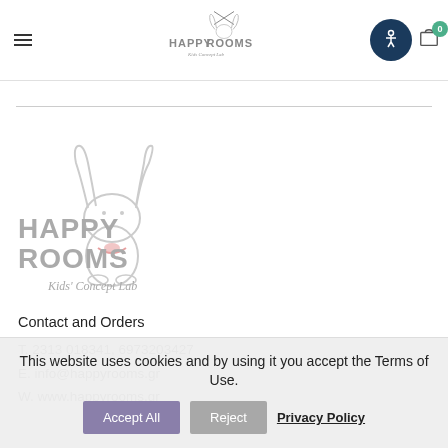Happy Rooms Kids Concept Lab — header navigation
[Figure (logo): Happy Rooms Kids Concept Lab logo — large version with bunny illustration]
Contact and Orders
T. 2313 018341, 6973203427
E. info@happyrooms.gr
W. www.happyrooms.gr
This website uses cookies and by using it you accept the Terms of Use.